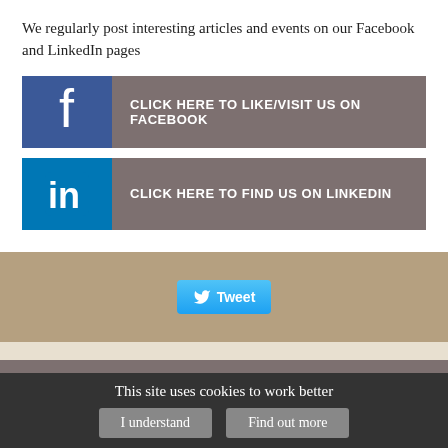We regularly post interesting articles and events on our Facebook and LinkedIn pages
[Figure (screenshot): Facebook social button: icon on blue background, label reading CLICK HERE TO LIKE/VISIT US ON FACEBOOK on grey-brown background]
[Figure (screenshot): LinkedIn social button: icon on blue background, label reading CLICK HERE TO FIND US ON LINKEDIN on grey-brown background]
[Figure (screenshot): Tweet button on tan/brown background section]
Our Location
Our centre is located at
This site uses cookies to work better